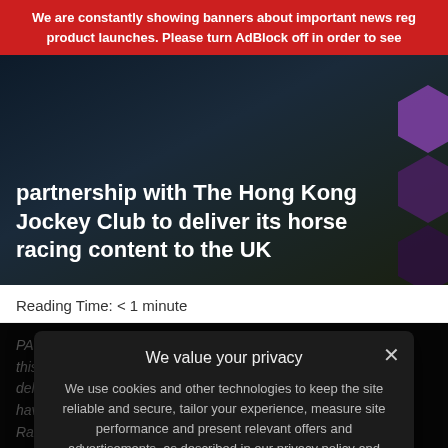We are constantly showing banners about important news reg... product launches. Please turn AdBlock off in order to see
partnership with The Hong Kong Jockey Club to deliver its horse racing content to the UK
Reading Time: < 1 minute
[Figure (screenshot): Privacy consent modal overlay on dark article background. Modal title: 'We value your privacy'. Body text: 'We use cookies and other technologies to keep the site reliable and secure, tailor your experience, measure site performance and present relevant offers and advertisements, as described in our privacy policy and cookie policy.' Preference link and 'I Agree' button.]
PA Betu... the Hong Kong Jo... Under this new agree... market-leading delivery platform to supply HKJC data to Tote UK who have commingled ...HKJC, and At the Races (ATR), who broade... ces from Hong Kong to